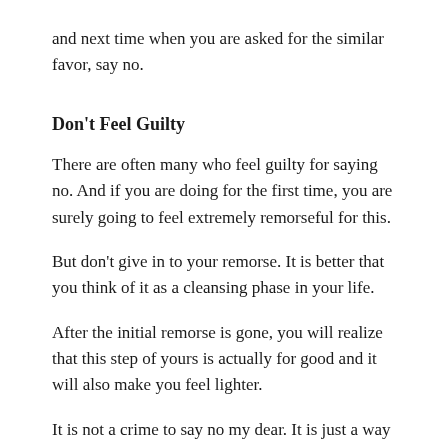and next time when you are asked for the similar favor, say no.
Don't Feel Guilty
There are often many who feel guilty for saying no. And if you are doing for the first time, you are surely going to feel extremely remorseful for this.
But don't give in to your remorse. It is better that you think of it as a cleansing phase in your life.
After the initial remorse is gone, you will realize that this step of yours is actually for good and it will also make you feel lighter.
It is not a crime to say no my dear. It is just a way of healthy